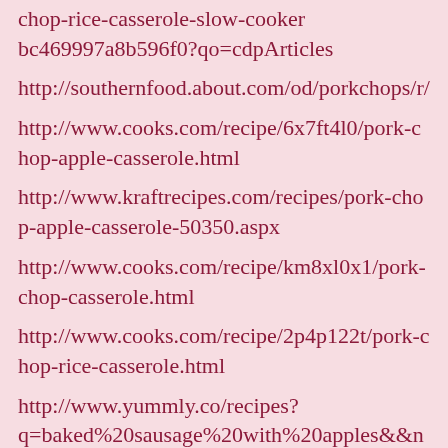chop-rice-casserole-slow-cooker-bc469997a8b596f0?qo=cdpArticles
http://southernfood.about.com/od/porkchops/r/
http://www.cooks.com/recipe/6x7ft4l0/pork-chop-apple-casserole.html
http://www.kraftrecipes.com/recipes/pork-chop-apple-casserole-50350.aspx
http://www.cooks.com/recipe/km8xl0x1/pork-chop-casserole.html
http://www.cooks.com/recipe/2p4p122t/pork-chop-rice-casserole.html
http://www.yummly.co/recipes?q=baked%20sausage%20with%20apples&&noUserS